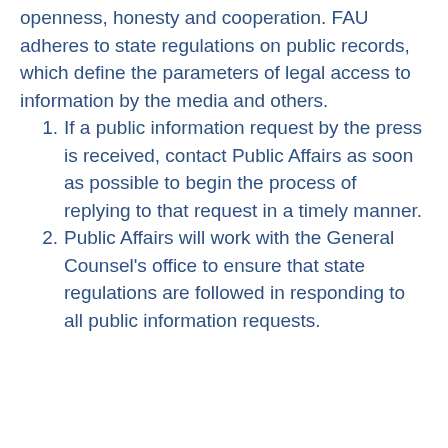openness, honesty and cooperation. FAU adheres to state regulations on public records, which define the parameters of legal access to information by the media and others.
If a public information request by the press is received, contact Public Affairs as soon as possible to begin the process of replying to that request in a timely manner.
Public Affairs will work with the General Counsel’s office to ensure that state regulations are followed in responding to all public information requests.